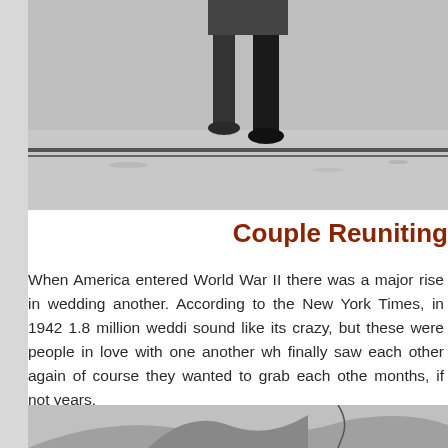[Figure (photo): Black and white historical photo showing feet/boots of a person standing on snowy or sandy ground with a horizontal line/rail visible.]
Couple Reuniting
When America entered World War II there was a major rise in wedding another. According to the New York Times, in 1942 1.8 million weddi sound like its crazy, but these were people in love with one another wh finally saw each other again of course they wanted to grab each othe months, if not years.
[Figure (photo): Black and white historical photo showing close-up of a person's body/clothing, partially cropped at bottom of page.]